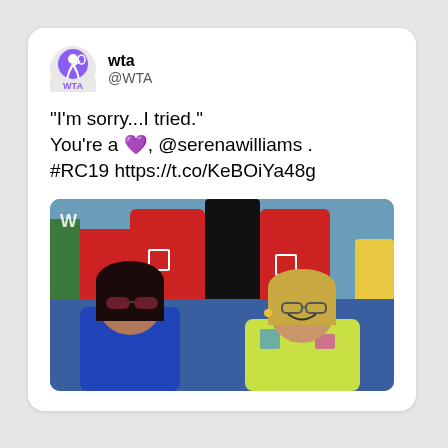[Figure (screenshot): WTA Twitter/X account profile avatar — circular icon with tennis player silhouette on purple background with WTA text]
wta
@WTA
"I'm sorry...I tried."
You're a 💜, @serenawilliams .
#RC19 https://t.co/KeBOiYa48g
[Figure (photo): Crowd photo from tennis event: woman with dark hair and sunglasses in blue top on the left, woman with glasses and blonde hair smiling in colorful top on the right, people in red athletic wear in background]